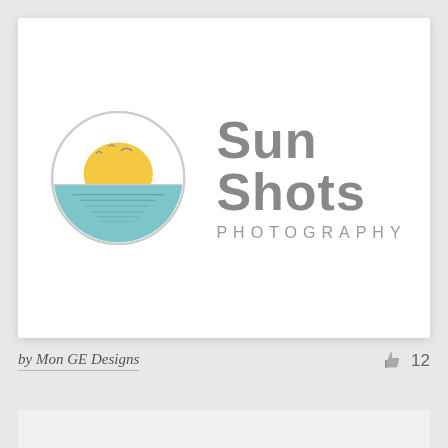[Figure (logo): Sun Shots Photography logo: circular emblem with a yellow sun rising over teal water with seagulls, next to bold gray text 'Sun Shots' and 'PHOTOGRAPHY' in spaced caps]
by Mon GE Designs
12